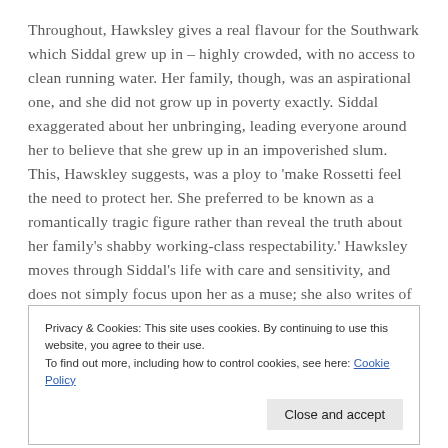Throughout, Hawksley gives a real flavour for the Southwark which Siddal grew up in – highly crowded, with no access to clean running water. Her family, though, was an aspirational one, and she did not grow up in poverty exactly. Siddal exaggerated about her unbringing, leading everyone around her to believe that she grew up in an impoverished slum. This, Hawskley suggests, was a ploy to 'make Rossetti feel the need to protect her. She preferred to be known as a romantically tragic figure rather than reveal the truth about her family's shabby working-class respectability.' Hawksley moves through Siddal's life with care and sensitivity, and does not simply focus upon her as a muse; she also writes of Siddal's own artistry, as she was a
Privacy & Cookies: This site uses cookies. By continuing to use this website, you agree to their use.
To find out more, including how to control cookies, see here: Cookie Policy
Close and accept